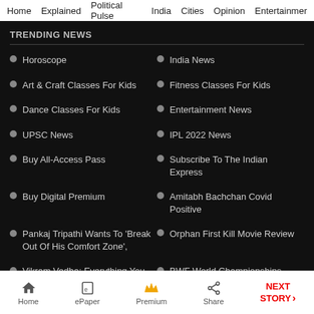Home  Explained  Political Pulse  India  Cities  Opinion  Entertainment
TRENDING NEWS
Horoscope
India News
Art & Craft Classes For Kids
Fitness Classes For Kids
Dance Classes For Kids
Entertainment News
UPSC News
IPL 2022 News
Buy All-Access Pass
Subscribe To The Indian Express
Buy Digital Premium
Amitabh Bachchan Covid Positive
Pankaj Tripathi Wants To 'Break Out Of His Comfort Zone',
Orphan First Kill Movie Review
Vikram Vedha: Everything You Need To Know
BWF World Championships Day 4 Live
Home  ePaper  Premium  Share  NEXT STORY